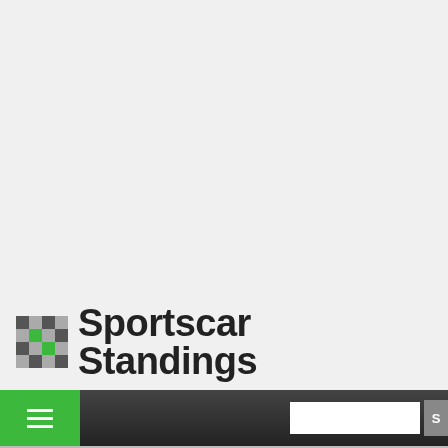[Figure (logo): Sportscar Standings website header with checkered flag logo and site title]
2011 Chevrolet Corvette Z06